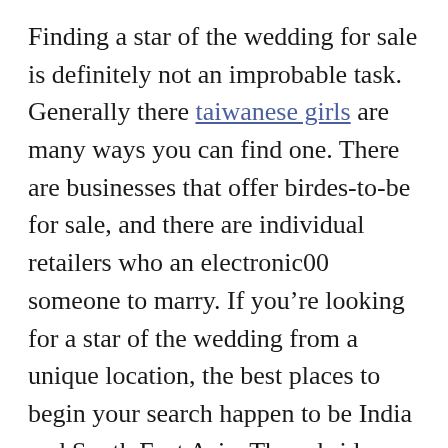Finding a star of the wedding for sale is definitely not an improbable task. Generally there taiwanese girls are many ways you can find one. There are businesses that offer birdes-to-be for sale, and there are individual retailers who an electronic00 someone to marry. If you're looking for a star of the wedding from a unique location, the best places to begin your search happen to be India and South East Asia. These brides usually are from neighborhoods with no guy relatives, and they will usually experience the groom's parents until marriage.